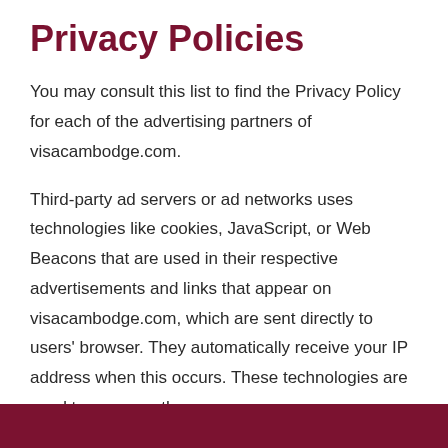Privacy Policies
You may consult this list to find the Privacy Policy for each of the advertising partners of visacambodge.com.
Third-party ad servers or ad networks uses technologies like cookies, JavaScript, or Web Beacons that are used in their respective advertisements and links that appear on visacambodge.com, which are sent directly to users' browser. They automatically receive your IP address when this occurs. These technologies are used to measure the